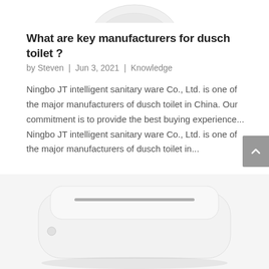[Figure (photo): Top portion of a white smart toilet/bidet seat, cropped at top of page]
What are key manufacturers for dusch toilet ?
by Steven | Jun 3, 2021 | Knowledge
Ningbo JT intelligent sanitary ware Co., Ltd. is one of the major manufacturers of dusch toilet in China. Our commitment is to provide the best buying experience... Ningbo JT intelligent sanitary ware Co., Ltd. is one of the major manufacturers of dusch toilet in...
[Figure (photo): White smart toilet bidet seat unit, partially visible at bottom of page, top-down angled view]